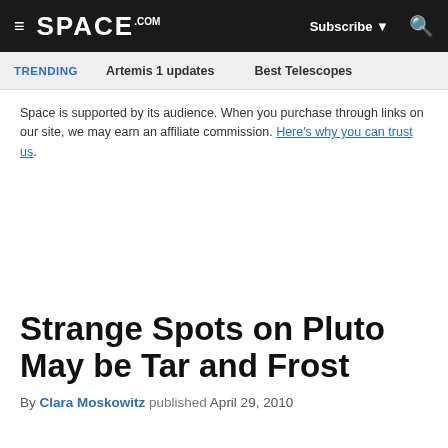SPACE.com  Subscribe  🔍
TRENDING   Artemis 1 updates   Best Telescopes
Space is supported by its audience. When you purchase through links on our site, we may earn an affiliate commission. Here's why you can trust us.
Strange Spots on Pluto May be Tar and Frost
By Clara Moskowitz published April 29, 2010